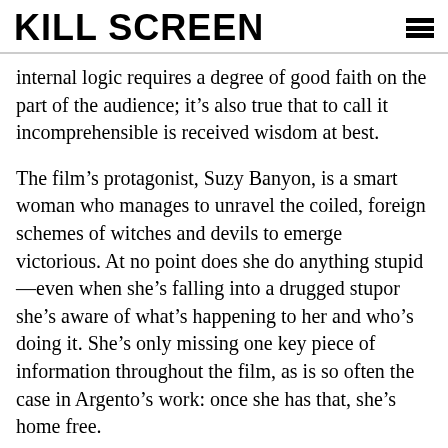KILL SCREEN
internal logic requires a degree of good faith on the part of the audience; it’s also true that to call it incomprehensible is received wisdom at best.
The film’s protagonist, Suzy Banyon, is a smart woman who manages to unravel the coiled, foreign schemes of witches and devils to emerge victorious. At no point does she do anything stupid—even when she’s falling into a drugged stupor she’s aware of what’s happening to her and who’s doing it. She’s only missing one key piece of information throughout the film, as is so often the case in Argento’s work: once she has that, she’s home free.
I’m not saying Suspiria is spy-thriller tight; I’m saying that to throw your hands up and say it doesn’t